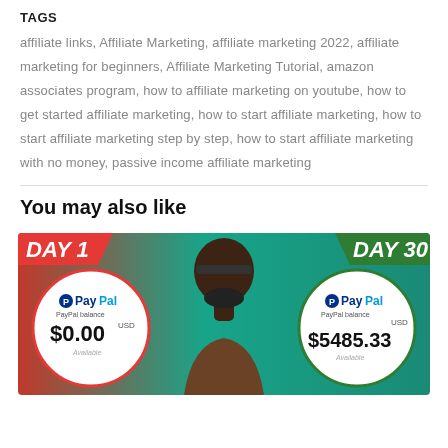TAGS
affiliate links, Affiliate Marketing, affiliate marketing 2022, affiliate marketing for beginners, Affiliate Marketing Tutorial, amazon associates program, how to affiliate marketing on youtube, how to get started affiliate marketing, how to start affiliate marketing, how to start affiliate marketing step by step, how to start affiliate marketing with no money, passive income affiliate marketing
You may also like
[Figure (photo): Thumbnail image showing a person between two PayPal balance screenshots: Day 1 with $0.00 USD and Day 30 with $5485.33 USD]